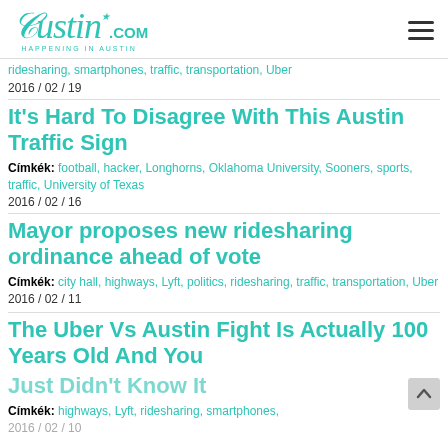Austin.com — HAPPENING IN AUSTIN
ridesharing, smartphones, traffic, transportation, Uber
2016 / 02 / 19
It's Hard To Disagree With This Austin Traffic Sign
Címkék: football, hacker, Longhorns, Oklahoma University, Sooners, sports, traffic, University of Texas
2016 / 02 / 16
Mayor proposes new ridesharing ordinance ahead of vote
Címkék: city hall, highways, Lyft, politics, ridesharing, traffic, transportation, Uber 2016 / 02 / 11
The Uber Vs Austin Fight Is Actually 100 Years Old And You Just Didn't Know It
Címkék: highways, Lyft, ridesharing, smartphones,
2016 / 02 / 10